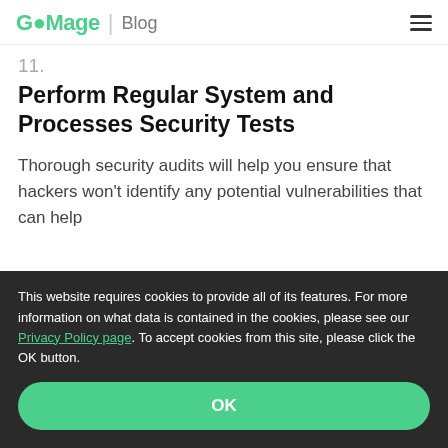GoMage | Blog
11.
Perform Regular System and Processes Security Tests
Thorough security audits will help you ensure that hackers won't identify any potential vulnerabilities that can help
This website requires cookies to provide all of its features. For more information on what data is contained in the cookies, please see our Privacy Policy page. To accept cookies from this site, please click the OK button.
OK